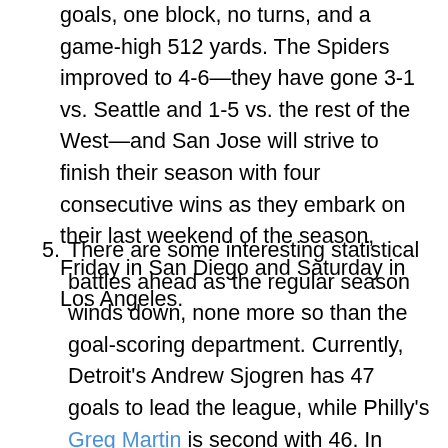goals, one block, no turns, and a game-high 512 yards. The Spiders improved to 4-6—they have gone 3-1 vs. Seattle and 1-5 vs. the rest of the West—and San Jose will strive to finish their season with four consecutive wins as they embark on their last weekend of the season, Friday in San Diego and Saturday in Los Angeles.
5. There are some interesting statistical battles ahead as the regular season winds down, none more so than the goal-scoring department. Currently, Detroit's Andrew Sjogren has 47 goals to lead the league, while Philly's Greg Martin is second with 46. In Week 12, the Mechanix will host Chicago, while the Phoenix are at home for Boston. The other not-so-dark horse candidate to win the scoring title is New York's Ben Jagt,